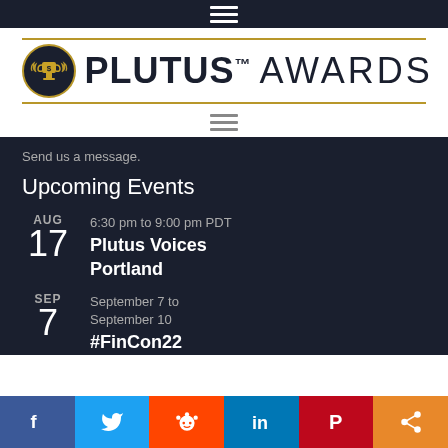[Figure (logo): Plutus Awards logo with trophy badge and wordmark]
Send us a message.
Upcoming Events
AUG 17 — 6:30 pm to 9:00 pm PDT — Plutus Voices Portland
SEP 7 — September 7 to September 10 — #FinCon22
[Figure (other): Social sharing bar with Facebook, Twitter, Reddit, LinkedIn, Pinterest, and share buttons]